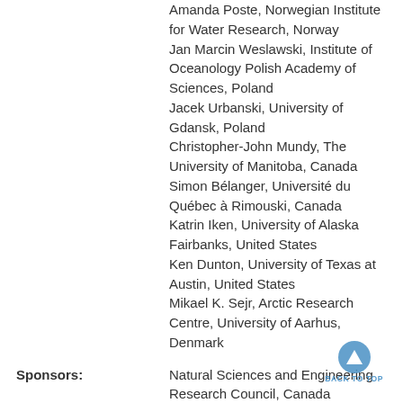Amanda Poste, Norwegian Institute for Water Research, Norway
Jan Marcin Weslawski, Institute of Oceanology Polish Academy of Sciences, Poland
Jacek Urbanski, University of Gdansk, Poland
Christopher-John Mundy, The University of Manitoba, Canada
Simon Bélanger, Université du Québec à Rimouski, Canada
Katrin Iken, University of Alaska Fairbanks, United States
Ken Dunton, University of Texas at Austin, United States
Mikael K. Sejr, Arctic Research Centre, University of Aarhus, Denmark
Sponsors:
Natural Sciences and Engineering Research Council, Canada
Quebec Research Fund, Canada (Quebec)